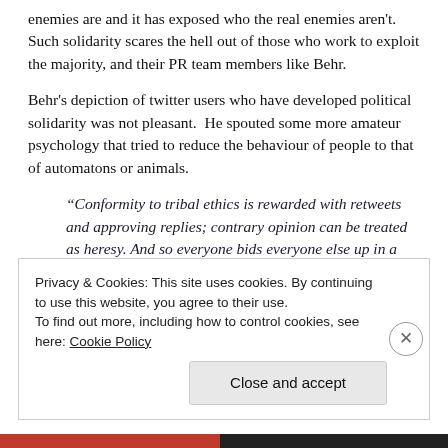enemies are and it has exposed who the real enemies aren't.  Such solidarity scares the hell out of those who work to exploit the majority, and their PR team members like Behr.
Behr's depiction of twitter users who have developed political solidarity was not pleasant.  He spouted some more amateur psychology that tried to reduce the behaviour of people to that of automatons or animals.
“Conformity to tribal ethics is rewarded with retweets and approving replies; contrary opinion can be treated as heresy. And so everyone bids everyone else up in a currency of implacability and indignation.”
Privacy & Cookies: This site uses cookies. By continuing to use this website, you agree to their use. To find out more, including how to control cookies, see here: Cookie Policy
Close and accept